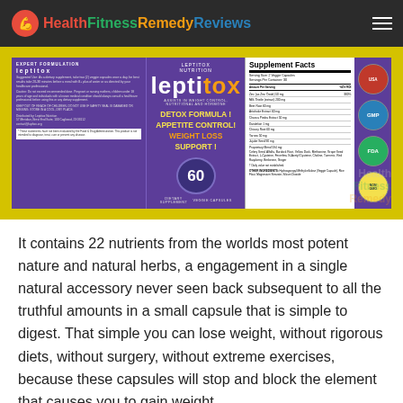HealthFitnessRemedyReviews
[Figure (photo): Leptitox dietary supplement product label showing supplement facts, detox formula, appetite control and weight loss support claims, 60 veggie capsules, with USA, GMP, and FDA seals]
It contains 22 nutrients from the worlds most potent nature and natural herbs, a engagement in a single natural accessory never seen back subsequent to all the truthful amounts in a small capsule that is simple to digest. That simple you can lose weight, without rigorous diets, without surgery, without extreme exercises, because these capsules will stop and block the element that causes you to gain weight.